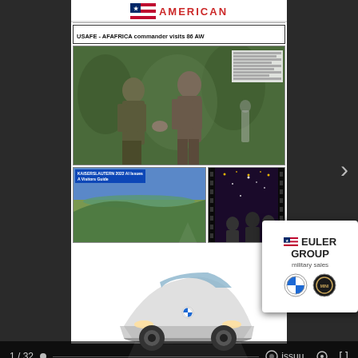[Figure (screenshot): Issuu document viewer showing Kaiserslautern American newspaper front page thumbnail. Page 1 of 32. Headline: USAFE - AFAFRICA commander visits 86 AW. Shows military personnel photo and bottom story sections.]
Kaiserslautern American - September 2, 2022
We use cookies to personalize content and ads, to provide social media features and to analyze our traffic. We also share information about your use of our site with our social media, advertising and analytics partners who may combine it with other information...
[Figure (logo): Euler Group military sales advertisement with BMW and MINI logos and a white car image]